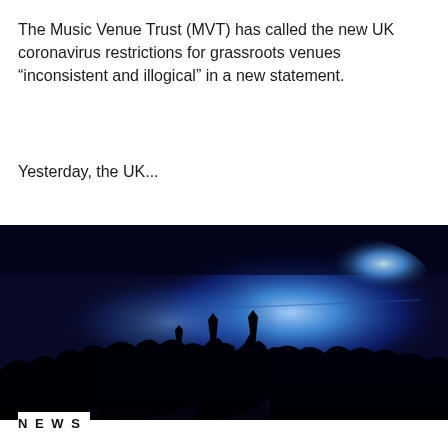The Music Venue Trust (MVT) has called the new UK coronavirus restrictions for grassroots venues “inconsistent and illogical” in a new statement.
Yesterday, the UK...
[Figure (photo): Dark concert venue photograph with blue stage lighting illuminating a crowd of silhouetted people with arms raised. The scene is moody and atmospheric with deep blue and black tones.]
NEWS